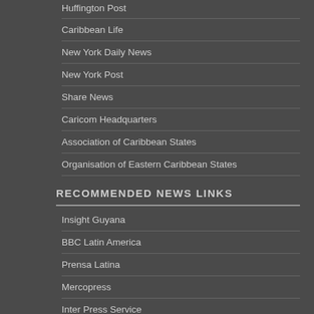Huffington Post
Caribbean Life
New York Daily News
New York Post
Share News
Caricom Headquarters
Association of Caribbean States
Organisation of Eastern Caribbean States
RECOMMENDED NEWS LINKS
Insight Guyana
BBC Latin America
Prensa Latina
Mercopress
Inter Press Service